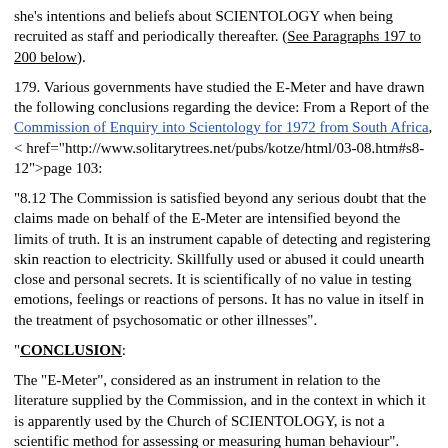she's intentions and beliefs about SCIENTOLOGY when being recruited as staff and periodically thereafter. (See Paragraphs 197 to 200 below).
179. Various governments have studied the E-Meter and have drawn the following conclusions regarding the device: From a Report of the Commission of Enquiry into Scientology for 1972 from South Africa, < href="http://www.solitarytrees.net/pubs/kotze/html/03-08.htm#s8-12">page 103:
"8.12 The Commission is satisfied beyond any serious doubt that the claims made on behalf of the E-Meter are intensified beyond the limits of truth. It is an instrument capable of detecting and registering skin reaction to electricity. Skillfully used or abused it could unearth close and personal secrets. It is scientifically of no value in testing emotions, feelings or reactions of persons. It has no value in itself in the treatment of psychosomatic or other illnesses".
"CONCLUSION:
The "E-Meter", considered as an instrument in relation to the literature supplied by the Commission, and in the context in which it is apparently used by the Church of SCIENTOLOGY, is not a scientific method for assessing or measuring human behaviour".
180. From the Report of the Board of Enquiry into Scientology in Australia in 1963, page 45:
"A great air of mystery and reverence surrounds the E-Meter. It is